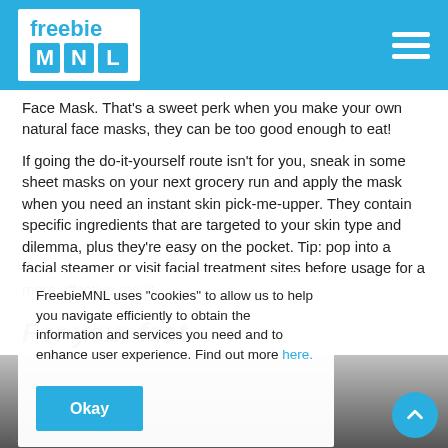freebie MNL
Face Mask. That's a sweet perk when you make your own natural face masks, they can be too good enough to eat!
If going the do-it-yourself route isn't for you, sneak in some sheet masks on your next grocery run and apply the mask when you need an instant skin pick-me-upper. They contain specific ingredients that are targeted to your skin type and dilemma, plus they're easy on the pocket. Tip: pop into a facial steamer or visit facial treatment sites before usage for a more effective result.
For your feet
[Figure (photo): Dark/grey background image section below article]
FreebieMNL uses "cookies" to allow us to help you navigate efficiently to obtain the information and services you need and to enhance user experience. Find out more here. Okay